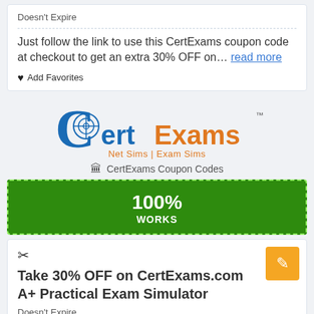Doesn't Expire
Just follow the link to use this CertExams coupon code at checkout to get an extra 30% OFF on… read more
♥ Add Favorites
[Figure (logo): CertExams logo with stylized blue C with target crosshair, 'CertExams' text in blue and orange, tagline 'Net Sims | Exam Sims' in orange]
🏛 CertExams Coupon Codes
100% WORKS
[Figure (other): Scissors icon indicating coupon]
Take 30% OFF on CertExams.com A+ Practical Exam Simulator
Doesn't Expire